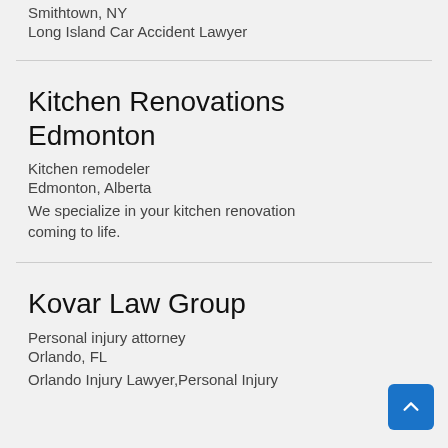Smithtown, NY
Long Island Car Accident Lawyer
Kitchen Renovations Edmonton
Kitchen remodeler
Edmonton, Alberta
We specialize in your kitchen renovation coming to life.
Kovar Law Group
Personal injury attorney
Orlando, FL
Orlando Injury Lawyer, Personal Injury